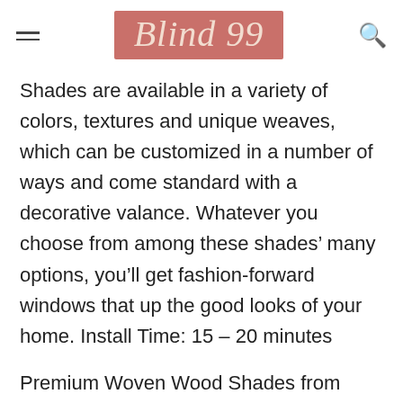Blind 99
Shades are available in a variety of colors, textures and unique weaves, which can be customized in a number of ways and come standard with a decorative valance. Whatever you choose from among these shades’ many options, you’ll get fashion-forward windows that up the good looks of your home. Install Time: 15 – 20 minutes
Premium Woven Wood Shades from Blinds.com make it easy to get the popular look of woven shades at an affordable price. Until now, shades of this quality were only available through interior